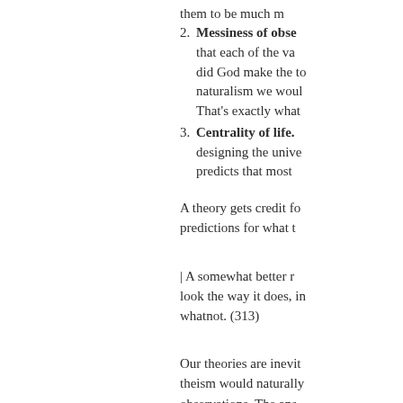them to be much m
2. Messiness of obse... that each of the va... did God make the to... naturalism we woul... That's exactly what
3. Centrality of life. designing the unive... predicts that most
A theory gets credit fo... predictions for what t
| A somewhat better r... look the way it does, in... whatnot. (313)
Our theories are inevit... theism would naturally... observations. The ans